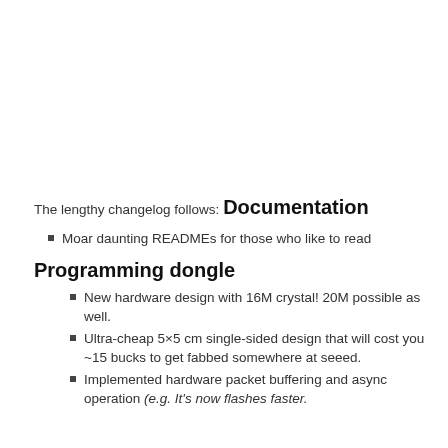The lengthy changelog follows:
Documentation
Moar daunting READMEs for those who like to read
Programming dongle
New hardware design with 16M crystal! 20M possible as well.
Ultra-cheap 5×5 cm single-sided design that will cost you ~15 bucks to get fabbed somewhere at seeed.
Implemented hardware packet buffering and async operation (e.g. It's now flashes faster.